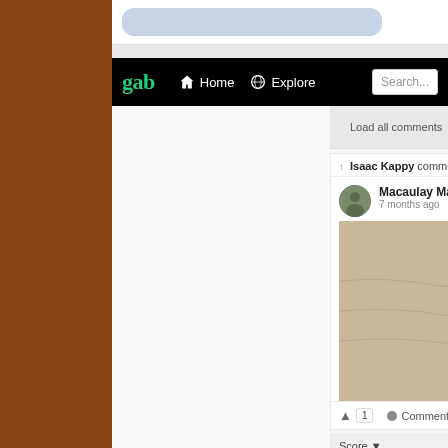[Figure (screenshot): Screenshot of Gab social media platform showing navigation bar with logo, Home, Explore links and search box, a comment by Isaac Kappy on a Macaulay Culkin post with an image of a person holding pizza on a bed, reaction bar with upvote and comments count, and a Score section showing Isaac Kappy @IsaacKappy with text 'Subtle' posted 7 months ago]